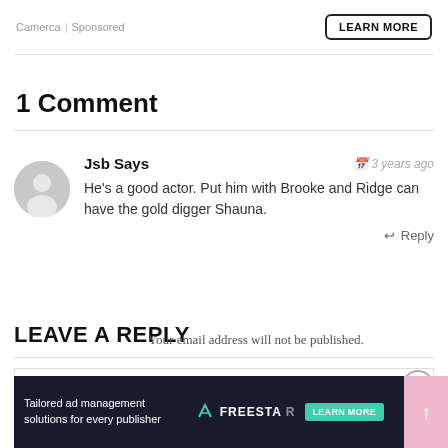Camerca | Sponsored
LEARN MORE
1 Comment
Jsb Says
3 years ago
He's a good actor. Put him with Brooke and Ridge can have the gold digger Shauna.
Reply
LEAVE A REPLY
Your email address will not be published.
Your Comment
[Figure (screenshot): Bottom advertisement banner from Freestar: dark background with illustration and 'Tailored ad management solutions for every publisher' text, with a green LEARN MORE button]
Tailored ad management solutions for every publisher